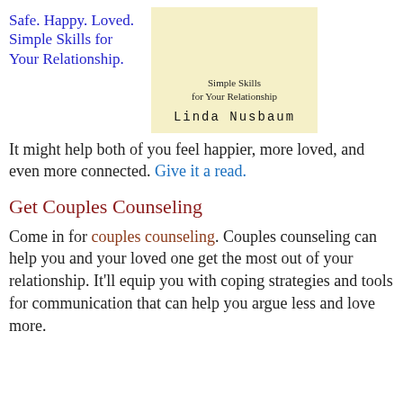Safe. Happy. Loved. Simple Skills for Your Relationship.
[Figure (illustration): Book cover with light yellow background showing title 'Simple Skills for Your Relationship' and author name 'Linda Nusbaum' in monospace font]
It might help both of you feel happier, more loved, and even more connected. Give it a read.
Get Couples Counseling
Come in for couples counseling. Couples counseling can help you and your loved one get the most out of your relationship. It'll equip you with coping strategies and tools for communication that can help you argue less and love more.